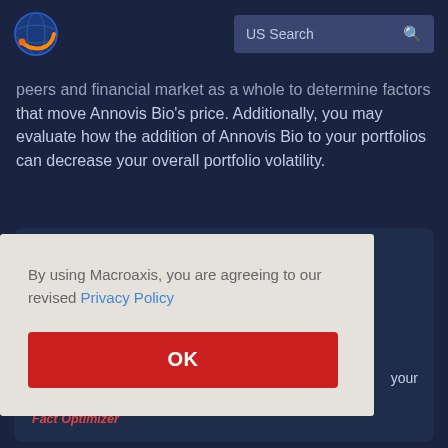[Figure (logo): Macroaxis logo - circular globe icon with orange and blue colors]
US Search
peers and financial market as a whole to determine factors that move Annovis Bio's price. Additionally, you may evaluate how the addition of Annovis Bio to your portfolios can decrease your overall portfolio volatility.
By using Macroaxis, you are agreeing to our revised Privacy Policy
OK